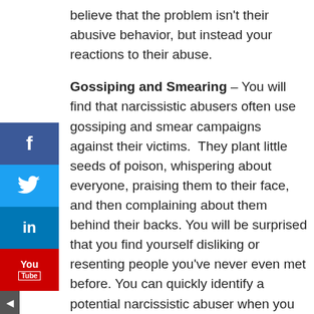believe that the problem isn't their abusive behavior, but instead your reactions to their abuse.
Gossiping and Smearing – You will find that narcissistic abusers often use gossiping and smear campaigns against their victims. They plant little seeds of poison, whispering about everyone, praising them to their face, and then complaining about them behind their backs. You will be surprised that you find yourself disliking or resenting people you've never even met before. You can quickly identify a potential narcissistic abuser when you join an organization or a team. They are the people who approach you first to feed you what they claim as important information about people and the culture etc. They will bait you into believing that you have a special place in their so-called inner circle as